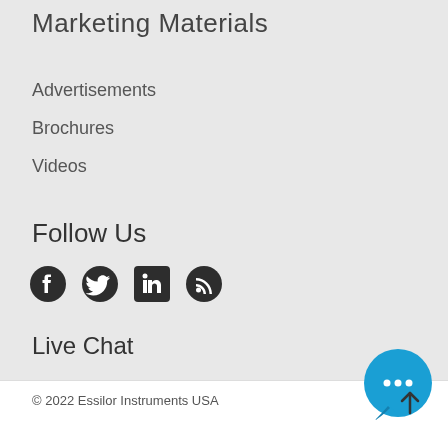Marketing Materials
Advertisements
Brochures
Videos
Follow Us
[Figure (illustration): Social media icons: Facebook, Twitter, LinkedIn, RSS feed]
Live Chat
[Figure (illustration): Blue chat bubble icon with three dots (live chat widget)]
© 2022 Essilor Instruments USA